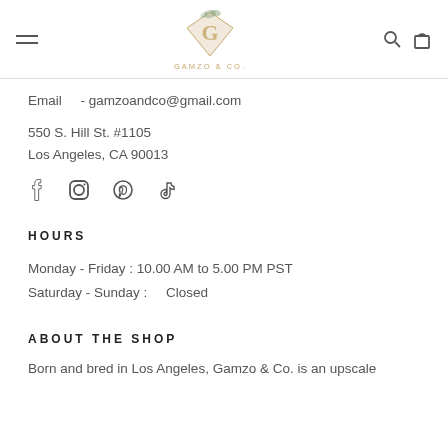GAMZO & CO. logo, hamburger menu, search and cart icons
Email   - gamzoandco@gmail.com
550 S. Hill St. #1105
Los Angeles, CA 90013
[Figure (illustration): Social media icons: Facebook, Instagram, Pinterest, TikTok]
HOURS
Monday - Friday : 10.00 AM to 5.00 PM PST
Saturday - Sunday :    Closed
ABOUT THE SHOP
Born and bred in Los Angeles, Gamzo & Co. is an upscale